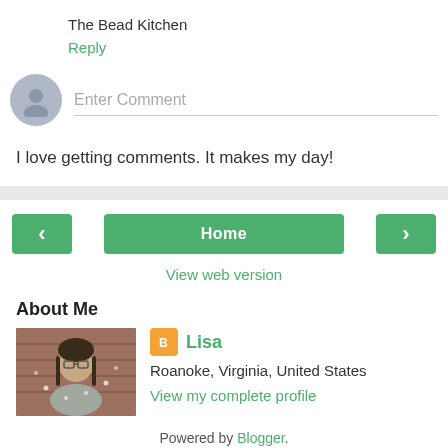The Bead Kitchen
Reply
Enter Comment
I love getting comments. It makes my day!
Home
View web version
About Me
[Figure (photo): Profile photo of Lisa]
Lisa
Roanoke, Virginia, United States
View my complete profile
Powered by Blogger.